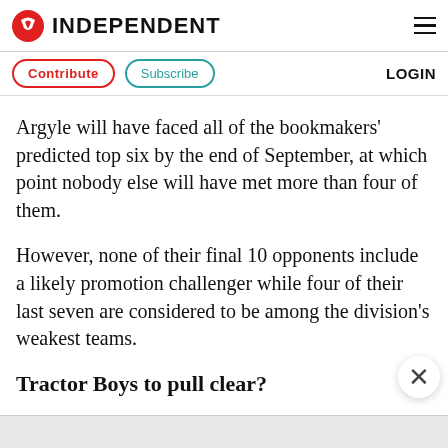INDEPENDENT
Contribute  Subscribe  LOGIN
Argyle will have faced all of the bookmakers' predicted top six by the end of September, at which point nobody else will have met more than four of them.
However, none of their final 10 opponents include a likely promotion challenger while four of their last seven are considered to be among the division's weakest teams.
Tractor Boys to pull clear?